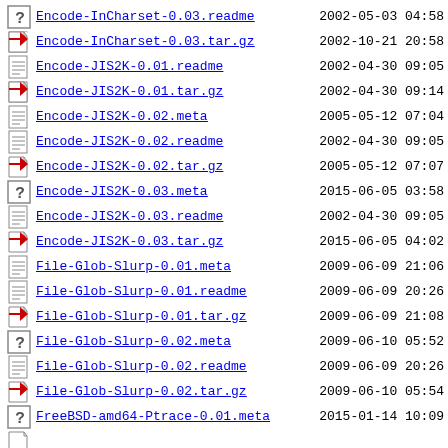Encode-InCharset-0.03.readme  2002-05-03 04:58
Encode-InCharset-0.03.tar.gz  2002-10-21 20:58
Encode-JIS2K-0.01.readme  2002-04-30 09:05
Encode-JIS2K-0.01.tar.gz  2002-04-30 09:14
Encode-JIS2K-0.02.meta  2005-05-12 07:04
Encode-JIS2K-0.02.readme  2002-04-30 09:05
Encode-JIS2K-0.02.tar.gz  2005-05-12 07:07
Encode-JIS2K-0.03.meta  2015-06-05 03:58
Encode-JIS2K-0.03.readme  2002-04-30 09:05
Encode-JIS2K-0.03.tar.gz  2015-06-05 04:02
File-Glob-Slurp-0.01.meta  2009-06-09 21:06
File-Glob-Slurp-0.01.readme  2009-06-09 20:26
File-Glob-Slurp-0.01.tar.gz  2009-06-09 21:08
File-Glob-Slurp-0.02.meta  2009-06-10 05:52
File-Glob-Slurp-0.02.readme  2009-06-09 20:26
File-Glob-Slurp-0.02.tar.gz  2009-06-10 05:54
FreeBSD-amd64-Ptrace-0.01.meta  2015-01-14 10:09